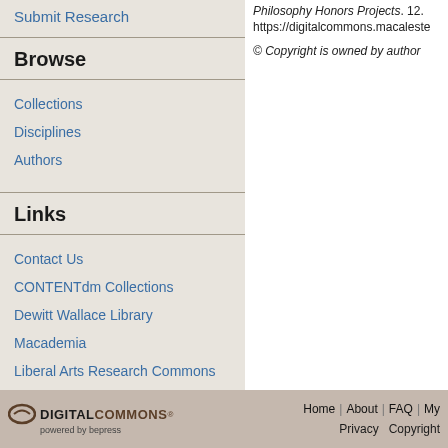Submit Research
Browse
Collections
Disciplines
Authors
Links
Contact Us
CONTENTdm Collections
Dewitt Wallace Library
Macademia
Liberal Arts Research Commons
Philosophy Honors Projects. 12. https://digitalcommons.macaleste
© Copyright is owned by author
DIGITAL COMMONS® powered by bepress | Home | About | FAQ | My | Privacy | Copyright